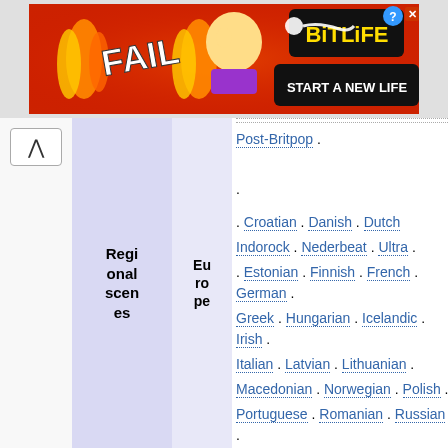[Figure (screenshot): BitLife advertisement banner: 'FAIL' text with cartoon character, flames, and 'START A NEW LIFE' text on red background]
Regional scenes
Europe
Post-Britpop .
. Croatian . Danish . Dutch Indorock . Nederbeat . Ultra .
. Estonian . Finnish . French . German . Greek . Hungarian . Icelandic . Irish . Italian . Latvian . Lithuanian . Macedonian . Norwegian . Polish . Portuguese . Romanian . Russian . Serbian . Slovenian . Spanish . Swedish . Swiss . Ukrainian . Yugoslavian
Art rock . Hard rock and heavy metal